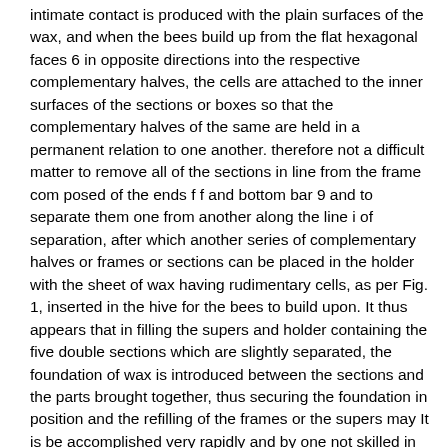intimate contact is produced with the plain surfaces of the wax, and when the bees build up from the flat hexagonal faces 6 in opposite directions into the respective complementary halves, the cells are attached to the inner surfaces of the sections or boxes so that the complementary halves of the same are held in a permanent relation to one another. therefore not a difficult matter to remove all of the sections in line from the frame com posed of the ends f f and bottom bar 9 and to separate them one from another along the line i of separation, after which another series of complementary halves or frames or sections can be placed in the holder with the sheet of wax having rudimentary cells, as per Fig. 1, inserted in the hive for the bees to build upon. It thus appears that in filling the supers and holder containing the five double sections which are slightly separated, the foundation of wax is introduced between the sections and the parts brought together, thus securing the foundation in position and the refilling of the frames or the supers may It is be accomplished very rapidly and by one not skilled in the art and by the exercise of much less skill and ingenuity than is required to melt the edges of the cut sheets or to join the same in the wooden frame by melting wax, as has